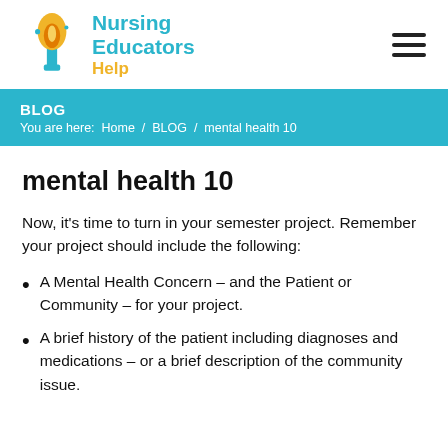[Figure (logo): Nursing Educators Help logo with torch icon and text]
BLOG
You are here:  Home  /  BLOG  /  mental health 10
mental health 10
Now, it’s time to turn in your semester project. Remember your project should include the following:
A Mental Health Concern – and the Patient or Community – for your project.
A brief history of the patient including diagnoses and medications – or a brief description of the community issue.